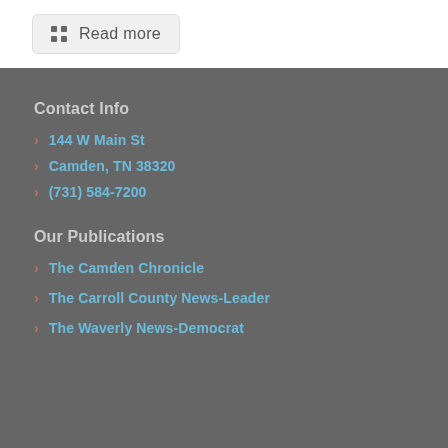[Figure (other): Read more button with grid icon]
Contact Info
144 W Main St
Camden, TN 38320
(731) 584-7200
Our Publications
The Camden Chronicle
The Carroll County News-Leader
The Waverly News-Democrat